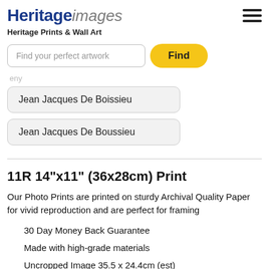[Figure (logo): Heritage images logo with bold blue 'Heritage' and italic gray 'images' text]
Heritage Prints & Wall Art
[Figure (screenshot): Search bar with placeholder 'Find your perfect artwork' and a gold 'Find' button]
Jean Jacques De Boissieu
Jean Jacques De Boussieu
11R 14"x11" (36x28cm) Print
Our Photo Prints are printed on sturdy Archival Quality Paper for vivid reproduction and are perfect for framing
30 Day Money Back Guarantee
Made with high-grade materials
Uncropped Image 35.5 x 24.4cm (est)
Professional quality finish